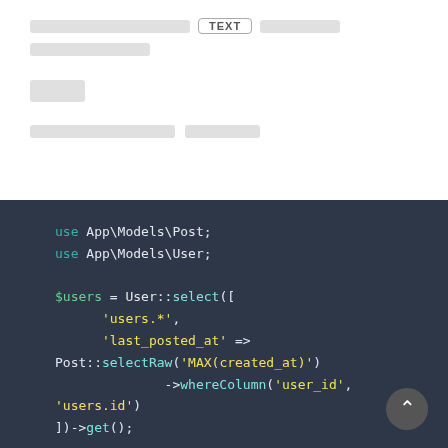[Thai text] TEXT [Thai text]
[Thai text]
[Thai text]
[Thai text] [Thai text]
[Figure (screenshot): Code block on dark background showing PHP/Laravel code: use App\Models\Post; use App\Models\User; $users = User::select([ 'users.*', 'last_posted_at' => Post::selectRaw('MAX(created_at)')->whereColumn('user_id', 'users.id') ])->get();]